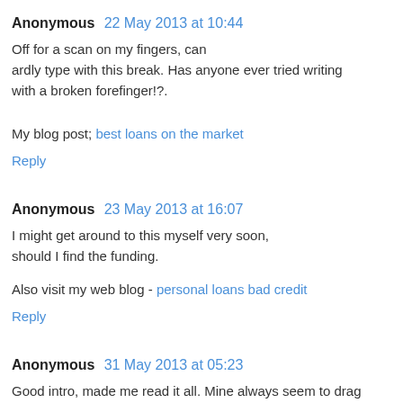Anonymous  22 May 2013 at 10:44
Off for a scan on my fingers, can ardly type with this break. Has anyone ever tried writing with a broken forefinger!?.
My blog post; best loans on the market
Reply
Anonymous  23 May 2013 at 16:07
I might get around to this myself very soon, should I find the funding.
Also visit my web blog - personal loans bad credit
Reply
Anonymous  31 May 2013 at 05:23
Good intro, made me read it all. Mine always seem to drag